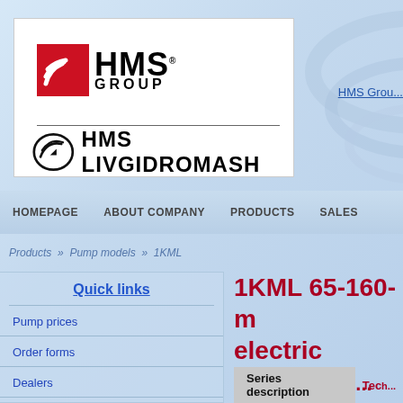[Figure (logo): HMS Group logo with red square swoosh icon and HMS GROUP text]
[Figure (logo): HMS Livgidromash sub-brand logo with circular swoosh icon]
HMS Grou...
HOMEPAGE   ABOUT COMPANY   PRODUCTS   SALES
Products » Pump models » 1KML
Quick links
Pump prices
Order forms
Dealers
1KML 65-160-m electric pumps 1K...
Series description
Tech...